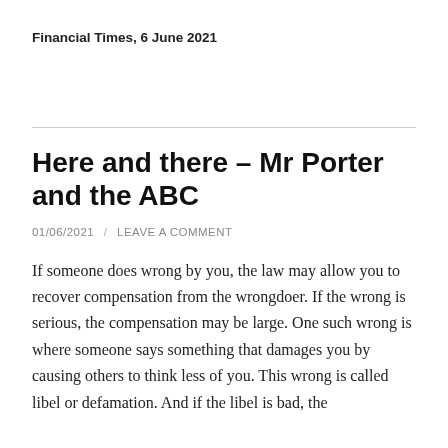Financial Times, 6 June 2021
Here and there – Mr Porter and the ABC
01/06/2021  /  LEAVE A COMMENT
If someone does wrong by you, the law may allow you to recover compensation from the wrongdoer.  If the wrong is serious, the compensation may be large.  One such wrong is where someone says something that damages you by causing others to think less of you.  This wrong is called libel or defamation.  And if the libel is bad, the